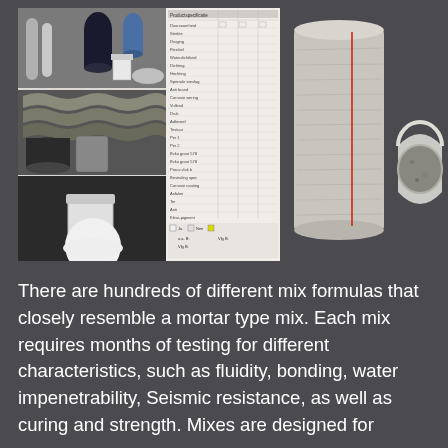[Figure (photo): Composite image panel showing construction/masonry materials: various rods, cylinders, powder containers, layered material samples, and a product specification chart with rows of material properties and checkboxes]
[Figure (photo): Two cylindrical core samples of cement/mortar material — one standing upright showing layered grain texture with a red line, and one lying on its side showing the rough circular cross-section face]
There are hundreds of different mix formulas that closely resemble a mortar type mix. Each mix requires months of testing for different characteristics, such as fluidity, bonding, water impenetrability, Seismic resistance, as well as curing and strength. Mixes are designed for